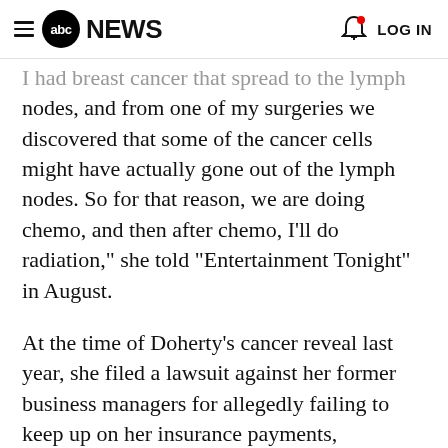abc NEWS  LOG IN
I had breast cancer that spread to the lymph nodes, and from one of my surgeries we discovered that some of the cancer cells might have actually gone out of the lymph nodes. So for that reason, we are doing chemo, and then after chemo, I'll do radiation," she told "Entertainment Tonight" in August.
At the time of Doherty's cancer reveal last year, she filed a lawsuit against her former business managers for allegedly failing to keep up on her insurance payments, according to the suit obtained by ABC News. The management firm has denied the claim and the suit is still ongoing.